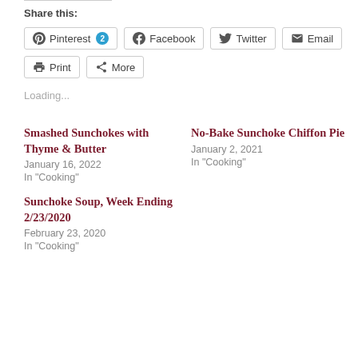Share this:
Pinterest 2
Facebook
Twitter
Email
Print
More
Loading...
Smashed Sunchokes with Thyme & Butter
January 16, 2022
In "Cooking"
No-Bake Sunchoke Chiffon Pie
January 2, 2021
In "Cooking"
Sunchoke Soup, Week Ending 2/23/2020
February 23, 2020
In "Cooking"